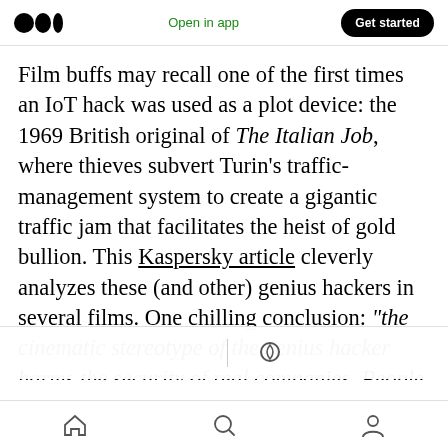Medium logo | Open in app | Get started
Film buffs may recall one of the first times an IoT hack was used as a plot device: the 1969 British original of The Italian Job, where thieves subvert Turin's traffic-management system to create a gigantic traffic jam that facilitates the heist of gold bullion. This Kaspersky article cleverly analyzes these (and other) genius hackers in several films. One chilling conclusion: “the cinematic stereotype of the genius hacker harms the security of real companies. People are so sure that bad actors can do a [...]hey don’t bother with maximum protection, leaving unnecessary
Home | Search | Profile